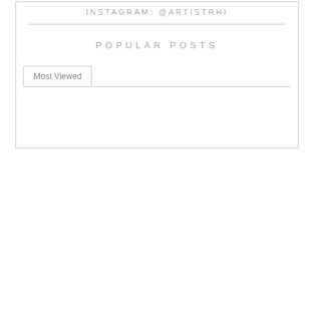INSTAGRAM: @ARTISTRHI
POPULAR POSTS
Most Viewed